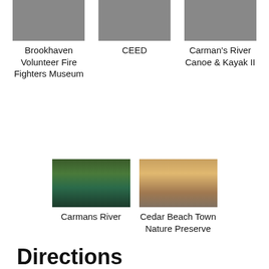[Figure (photo): Photo of Brookhaven Volunteer Fire Fighters Museum (partial, top cropped)]
Brookhaven Volunteer Fire Fighters Museum
[Figure (photo): Photo of CEED (partial, top cropped)]
CEED
[Figure (photo): Photo of Carman's River Canoe & Kayak II (partial, top cropped)]
Carman's River Canoe & Kayak II
[Figure (photo): Photo of Carmans River showing calm water with trees reflected]
Carmans River
[Figure (photo): Photo of Cedar Beach Town Nature Preserve showing a pier at sunset]
Cedar Beach Town Nature Preserve
Directions